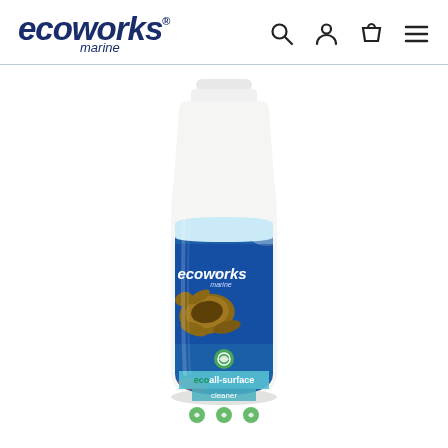ecoworks® marine — navigation header with search, account, cart, and menu icons
[Figure (photo): Product photo of an Ecoworks Marine eco all-surface cleaner bottle. White plastic bottle with a white cap. The label features a blue ocean background with a sea turtle, the ecoworks marine logo, and text reading 'ecoall-surface cleaner'. Small eco certification icons appear at the bottom of the label.]